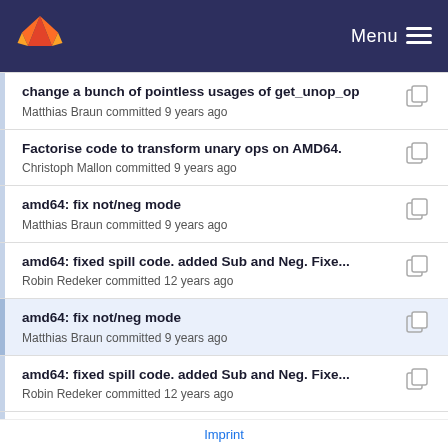GitLab Menu
change a bunch of pointless usages of get_unop_op
Matthias Braun committed 9 years ago
Factorise code to transform unary ops on AMD64.
Christoph Mallon committed 9 years ago
amd64: fix not/neg mode
Matthias Braun committed 9 years ago
amd64: fixed spill code. added Sub and Neg. Fixe...
Robin Redeker committed 12 years ago
amd64: fix not/neg mode
Matthias Braun committed 9 years ago
amd64: fixed spill code. added Sub and Neg. Fixe...
Robin Redeker committed 12 years ago
change a bunch of pointless usages of get_unop_op
Matthias Braun committed 9 years ago
Imprint